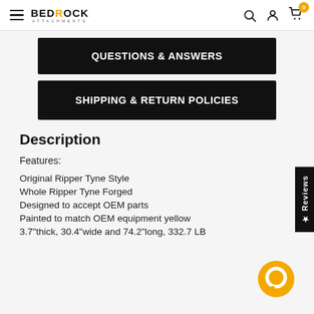BEDROCK ATTACHMENTS — navigation bar with hamburger menu, logo, search, account, and cart icons
QUESTIONS & ANSWERS
SHIPPING & RETURN POLICIES
Description
Features:
Original Ripper Tyne Style
Whole Ripper Tyne Forged
Designed to accept OEM parts
Painted to match OEM equipment yellow
3.7"thick, 30.4"wide and 74.2"long, 332.7 LB